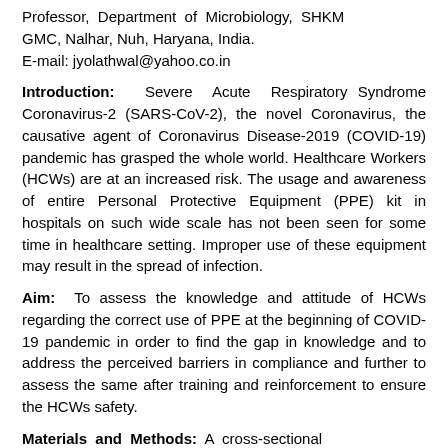Professor, Department of Microbiology, SHKM GMC, Nalhar, Nuh, Haryana, India.
E-mail: jyolathwal@yahoo.co.in
Introduction: Severe Acute Respiratory Syndrome Coronavirus-2 (SARS-CoV-2), the novel Coronavirus, the causative agent of Coronavirus Disease-2019 (COVID-19) pandemic has grasped the whole world. Healthcare Workers (HCWs) are at an increased risk. The usage and awareness of entire Personal Protective Equipment (PPE) kit in hospitals on such wide scale has not been seen for some time in healthcare setting. Improper use of these equipment may result in the spread of infection.
Aim: To assess the knowledge and attitude of HCWs regarding the correct use of PPE at the beginning of COVID-19 pandemic in order to find the gap in knowledge and to address the perceived barriers in compliance and further to assess the same after training and reinforcement to ensure the HCWs safety.
Materials and Methods: A cross-sectional